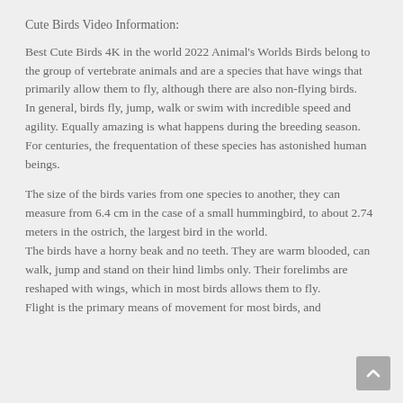Cute Birds Video Information:
Best Cute Birds 4K in the world 2022 Animal's Worlds Birds belong to the group of vertebrate animals and are a species that have wings that primarily allow them to fly, although there are also non-flying birds.
In general, birds fly, jump, walk or swim with incredible speed and agility. Equally amazing is what happens during the breeding season. For centuries, the frequentation of these species has astonished human beings.
The size of the birds varies from one species to another, they can measure from 6.4 cm in the case of a small hummingbird, to about 2.74 meters in the ostrich, the largest bird in the world.
The birds have a horny beak and no teeth. They are warm blooded, can walk, jump and stand on their hind limbs only. Their forelimbs are reshaped with wings, which in most birds allows them to fly.
Flight is the primary means of movement for most birds, and